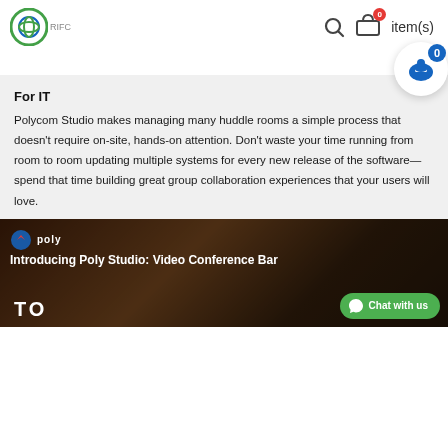RIFC logo | search | 0 item(s)
For IT
Polycom Studio makes managing many huddle rooms a simple process that doesn't require on-site, hands-on attention. Don't waste your time running from room to room updating multiple systems for every new release of the software—spend that time building great group collaboration experiences that your users will love.
[Figure (screenshot): Video thumbnail showing Poly Studio: Video Conference Bar introduction video with dark background, people in a meeting room, Poly logo, and 'TO' text visible]